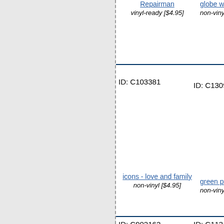Repairman
vinyl-ready [$4.95]
globe with arrow
non-vinyl [$3.95]
ID: C103381
ID: C130985
icons - love and family
non-vinyl [$4.95]
green planet
non-vinyl [$4.95]
ID: C902162
ID: C11317